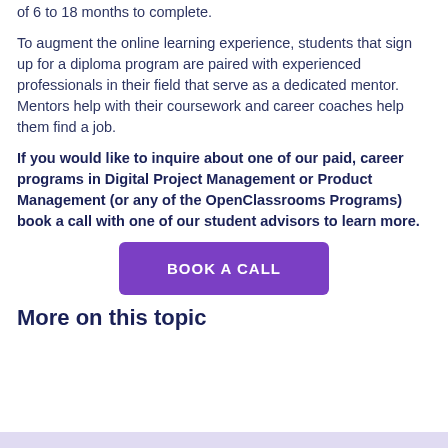of 6 to 18 months to complete.
To augment the online learning experience, students that sign up for a diploma program are paired with experienced professionals in their field that serve as a dedicated mentor. Mentors help with their coursework and career coaches help them find a job.
If you would like to inquire about one of our paid, career programs in Digital Project Management or Product Management (or any of the OpenClassrooms Programs) book a call with one of our student advisors to learn more.
[Figure (other): Purple button labeled BOOK A CALL]
More on this topic
[Figure (other): Lavender/light purple bar at bottom of page]